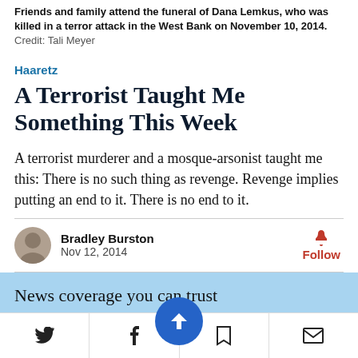Friends and family attend the funeral of Dana Lemkus, who was killed in a terror attack in the West Bank on November 10, 2014. Credit: Tali Meyer
Haaretz
A Terrorist Taught Me Something This Week
A terrorist murderer and a mosque-arsonist taught me this: There is no such thing as revenge. Revenge implies putting an end to it. There is no end to it.
Bradley Burston
Nov 12, 2014
News coverage you can trust